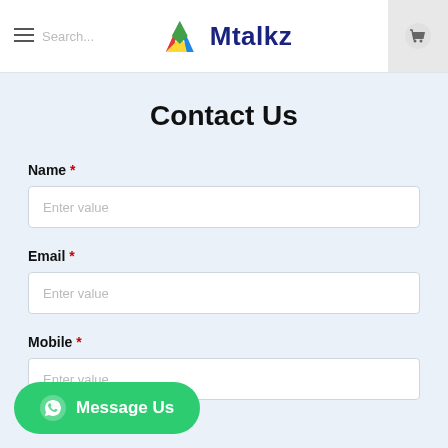Mtalkz — navigation header with menu, search, logo, and cart
Contact Us
Name *
Enter value
Email *
Enter value
Mobile *
Enter value
Message Us